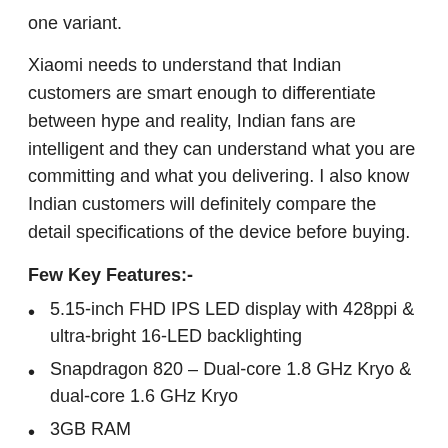one variant.
Xiaomi needs to understand that Indian customers are smart enough to differentiate between hype and reality, Indian fans are intelligent and they can understand what you are committing and what you delivering. I also know Indian customers will definitely compare the detail specifications of the device before buying.
Few Key Features:-
5.15-inch FHD IPS LED display with 428ppi & ultra-bright 16-LED backlighting
Snapdragon 820 – Dual-core 1.8 GHz Kryo & dual-core 1.6 GHz Kryo
3GB RAM
32GB fixed internal storage